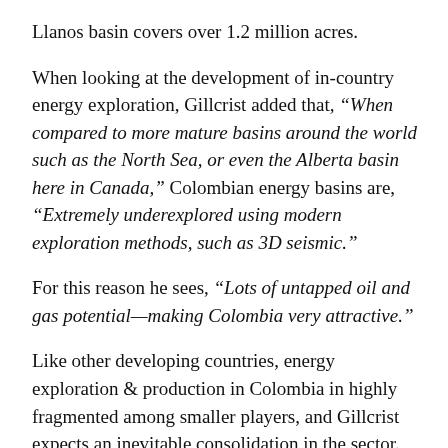Llanos basin covers over 1.2 million acres.
When looking at the development of in-country energy exploration, Gillcrist added that, “When compared to more mature basins around the world such as the North Sea, or even the Alberta basin here in Canada,” Colombian energy basins are, “Extremely underexplored using modern exploration methods, such as 3D seismic.”
For this reason he sees, “Lots of untapped oil and gas potential—making Colombia very attractive.”
Like other developing countries, energy exploration & production in Colombia in highly fragmented among smaller players, and Gillcrist expects an inevitable consolidation in the sector.
“We’ll see the smaller companies starting to merge to be